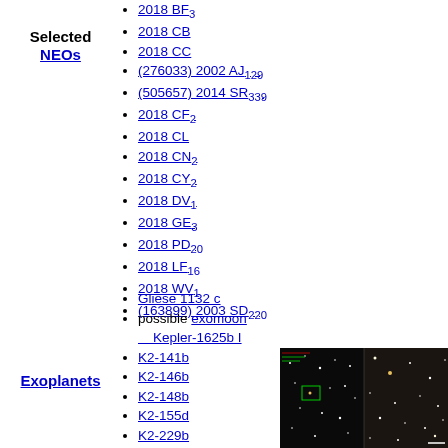Selected NEOs
2018 BF3
2018 CB
2018 CC
(276033) 2002 AJ129
(505657) 2014 SR339
2018 CF2
2018 CL
2018 CN2
2018 CY2
2018 DV1
2018 GE3
2018 PD20
2018 LF16
2018 WV1
(163899) 2003 SD220
Exoplanets
Gliese 1132 c
possible exomoon Kepler-1625b I
K2-141b
K2-146b
K2-148b
K2-155d
K2-229b
K2-239b
K2-239c
[Figure (photo): Astronomical images showing star fields and possibly exoplanet host stars]